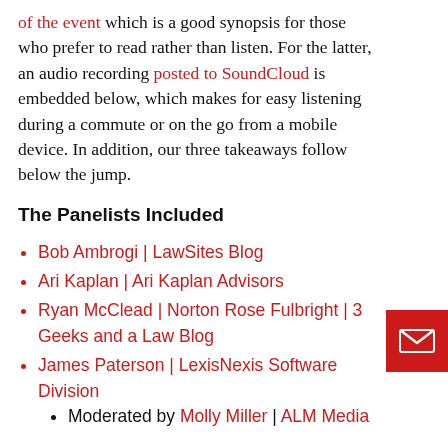of the event which is a good synopsis for those who prefer to read rather than listen. For the latter, an audio recording posted to SoundCloud is embedded below, which makes for easy listening during a commute or on the go from a mobile device. In addition, our three takeaways follow below the jump.
The Panelists Included
Bob Ambrogi | LawSites Blog
Ari Kaplan | Ari Kaplan Advisors
Ryan McClead | Norton Rose Fulbright | 3 Geeks and a Law Blog
James Paterson | LexisNexis Software Division
Moderated by Molly Miller | ALM Media